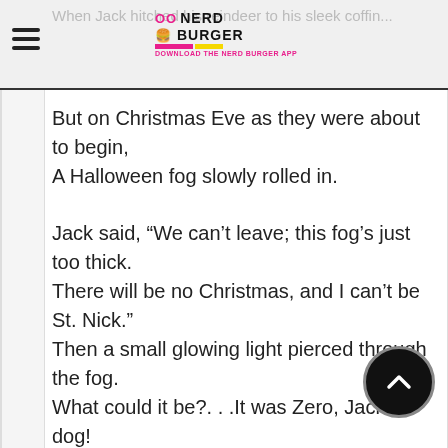When Jack hitched his reindeer to his sleek coffin... [Nerd Burger logo]
But on Christmas Eve as they were about to begin,
A Halloween fog slowly rolled in.

Jack said, “We can’t leave; this fog’s just too thick.
There will be no Christmas, and I can’t be St. Nick.”
Then a small glowing light pierced through the fog.
What could it be?. . .It was Zero, Jack’s dog!

Jack said, “Zero, with your nose so bright,
Won’t you guide my sleigh tonight?”
And to be so needed was Zero’s great dream.